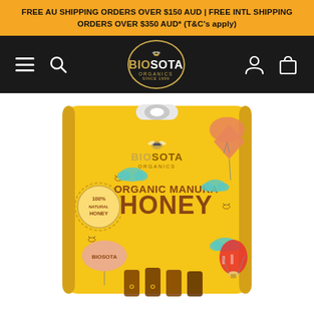FREE AU SHIPPING ORDERS OVER $150 AUD | FREE INTL SHIPPING ORDERS OVER $350 AUD* (T&C's apply)
[Figure (logo): Biosota Organics navigation bar with hamburger menu, search icon, Biosota Organics logo in circular badge, user account icon, and shopping bag icon on dark background]
[Figure (photo): Biosota Organics Organic Manuka Honey product package - yellow resealable pouch with illustrated bees, clouds, hot air balloon, kite and parachute decorations, with 100% Natural Honey seal and honey sticks visible at bottom]